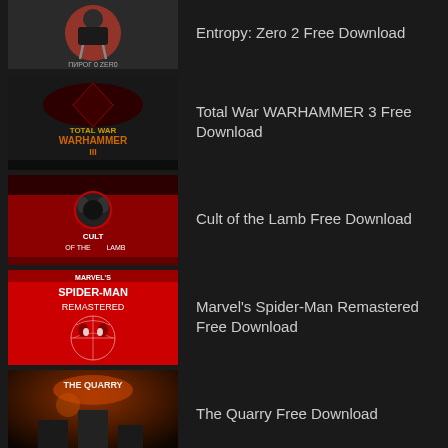Entropy: Zero 2 Free Download
Total War WARHAMMER 3 Free Download
Cult of the Lamb Free Download
Marvel's Spider-Man Remastered Free Download
The Quarry Free Download
Total War: WARHAMMER III – Champions of Chaos DLC